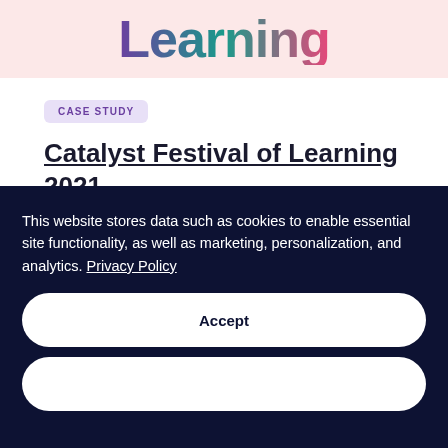[Figure (illustration): Partial banner with colorful gradient text reading 'Learning' on a pink/light background]
CASE STUDY
Catalyst Festival of Learning 2021
This website stores data such as cookies to enable essential site functionality, as well as marketing, personalization, and analytics. Privacy Policy
Accept